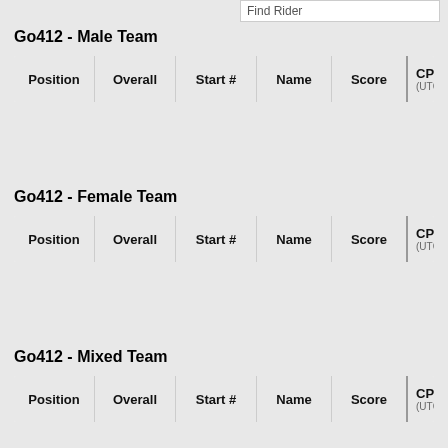Find Rider
Go412 - Male Team
| Position | Overall | Start # | Name | Score | CP 1 - Track : (UTC+12:00) Pacific/A |
| --- | --- | --- | --- | --- | --- |
Go412 - Female Team
| Position | Overall | Start # | Name | Score | CP 1 - Track : (UTC+12:00) Pacific/A |
| --- | --- | --- | --- | --- | --- |
Go412 - Mixed Team
| Position | Overall | Start # | Name | Score | CP 1 - Track : (UTC+12:00) Pacific/A |
| --- | --- | --- | --- | --- | --- |